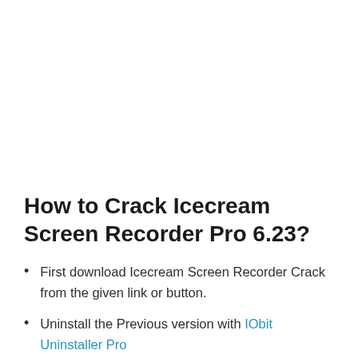How to Crack Icecream Screen Recorder Pro 6.23?
First download Icecream Screen Recorder Crack from the given link or button.
Uninstall the Previous version with IObit Uninstaller Pro
Turn off the Virus Guard.